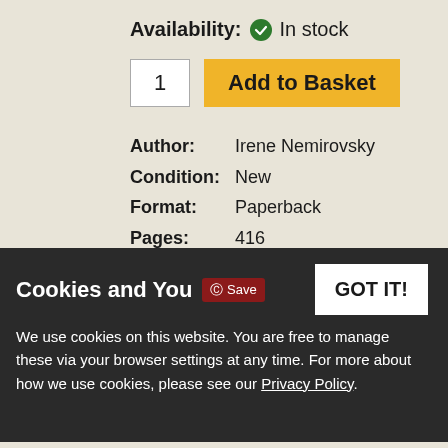Availability: ✓ In stock
1  Add to Basket
Author: Irene Nemirovsky
Condition: New
Format: Paperback
Pages: 416
Publisher: Vintage Publishing
Year: 2007
ISBN: 9780099488781
Cookies and You
We use cookies on this website. You are free to manage these via your browser settings at any time. For more about how we use cookies, please see our Privacy Policy.
ng Kristin Scott Thomas and Michelle Williams